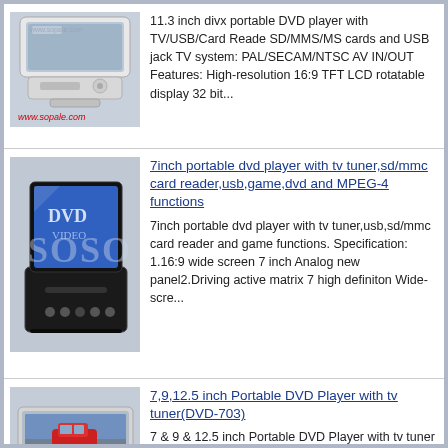[Figure (photo): 11.3 inch portable DVD player, silver colored, open clamshell, with watermark www.sopale.com]
11.3 inch divx portable DVD player with TV/USB/Card Reade SD/MMS/MS cards and USB jack TV system: PAL/SECAM/NTSC AV IN/OUT Features: High-resolution 16:9 TFT LCD rotatable display 32 bit...
[Figure (photo): 7 inch portable DVD player, black, open, blue screen showing, with SOSO watermark overlay]
7inch portable dvd player with tv tuner,sd/mmc card reader,usb,game,dvd and MPEG-4 functions
7inch portable dvd player with tv tuner,usb,sd/mmc card reader and game functions. Specification: 1.16:9 wide screen 7 inch Analog new panel2.Driving active matrix 7 high definiton Wide-scre...
[Figure (photo): Portable DVD player, silver, showing red car on screen, with lulusoso.com watermark]
7,9,12.5 inch Portable DVD Player with tv tuner(DVD-703)
7 & 9 & 12.5 inch Portable DVD Player with tv tuner 1. 7 Inch 16:9/4:3 Wide-angle TFT LCD 2. Compatible with: DVD,MPEG4(DIVX),SVCD,VCD,DVCD,CD,CDG,MP3,CD-R,CD-RW,HDCD,WMA,USB and JPEG pic...